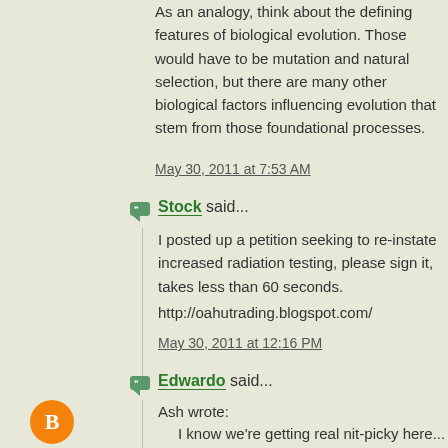As an analogy, think about the defining features of biological evolution. Those would have to be mutation and natural selection, but there are many other biological factors influencing evolution that stem from those foundational processes.
May 30, 2011 at 7:53 AM
Stock said...
I posted up a petition seeking to re-instate increased radiation testing, please sign it, takes less than 60 seconds.
http://oahutrading.blogspot.com/
May 30, 2011 at 12:16 PM
Edwardo said...
Ash wrote:
I know we're getting real nit-picky here... but your second sentence contradicts your first sentence. Anyway, I knew that you were saying "it's reductive, therefore it's flawed."
-Um, no, Ash, it doesn't. And if you knew what I was saying than you might have written something that made your understanding